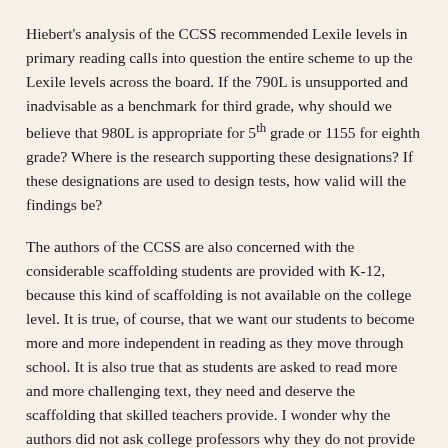Hiebert's analysis of the CCSS recommended Lexile levels in primary reading calls into question the entire scheme to up the Lexile levels across the board. If the 790L is unsupported and inadvisable as a benchmark for third grade, why should we believe that 980L is appropriate for 5th grade or 1155 for eighth grade? Where is the research supporting these designations? If these designations are used to design tests, how valid will the findings be?
The authors of the CCSS are also concerned with the considerable scaffolding students are provided with K-12, because this kind of scaffolding is not available on the college level. It is true, of course, that we want our students to become more and more independent in reading as they move through school. It is also true that as students are asked to read more and more challenging text, they need and deserve the scaffolding that skilled teachers provide. I wonder why the authors did not ask college professors why they do not provide appropriate scaffolding for their students when they give them difficult readings? Is the job of the K-12 teacher to compensate for the lack of appropriate instruction on the college level?